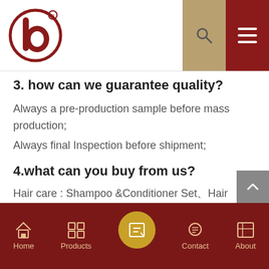[Figure (logo): Red circular brand logo with stylized 'b' letter]
3. how can we guarantee quality?
Always a pre-production sample before mass production;
Always final Inspection before shipment;
4.what can you buy from us?
Hair care : Shampoo &Conditioner Set、Hair treatment & Hair mask、Hair oil、Hair gel、Hair food&Wax、Hair lotion、Hair serum
Bath Care: Shower gel、Soap
Skin care : Facial serum、Facial mask、Facial Cream、Facial toner、Rose oil、Essence、Dried...